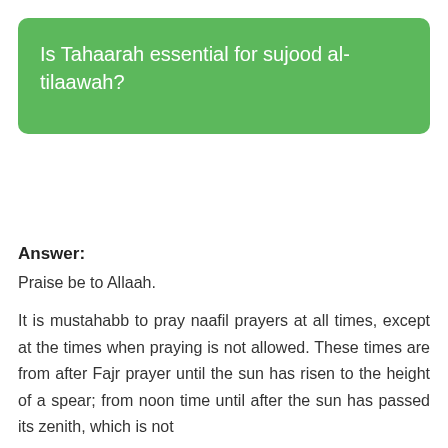Is Tahaarah essential for sujood al-tilaawah?
Answer:
Praise be to Allaah.
It is mustahabb to pray naafil prayers at all times, except at the times when praying is not allowed. These times are from after Fajr prayer until the sun has risen to the height of a spear; from noon time until after the sun has passed its zenith, which is not...